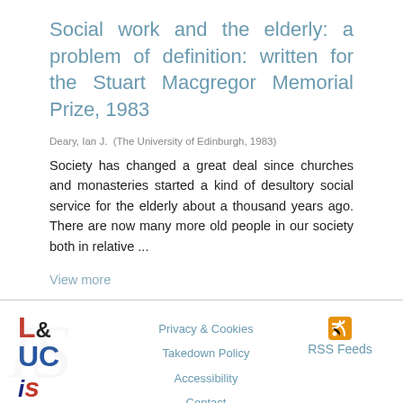Social work and the elderly: a problem of definition: written for the Stuart Macgregor Memorial Prize, 1983
Deary, Ian J.  (The University of Edinburgh, 1983)
Society has changed a great deal since churches and monasteries started a kind of desultory social service for the elderly about a thousand years ago. There are now many more old people in our society both in relative ...
View more
Privacy & Cookies  Takedown Policy  Accessibility  Contact  RSS Feeds